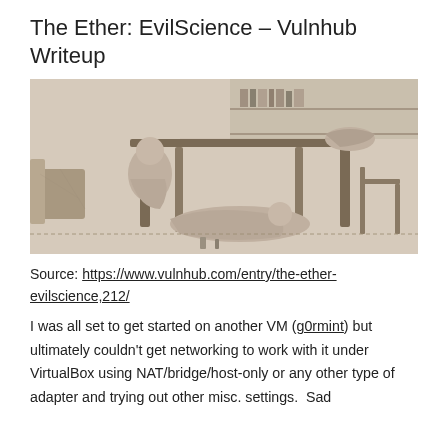The Ether: EvilScience – Vulnhub Writeup
[Figure (illustration): A vintage black-and-white engraving/illustration depicting several people in a 19th-century interior scene. A woman is slumped over a table, a man sits on the floor looking dazed, and another figure is collapsed on the ground. The scene evokes the effects of ether or some intoxicating substance.]
Source: https://www.vulnhub.com/entry/the-ether-evilscience,212/
I was all set to get started on another VM (g0rmint) but ultimately couldn't get networking to work with it under VirtualBox using NAT/bridge/host-only or any other type of adapter and trying out other misc. settings.  Sad